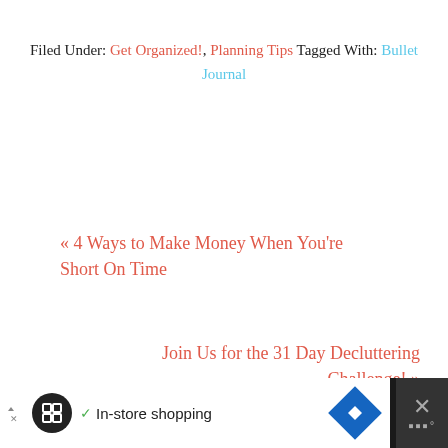Filed Under: Get Organized!, Planning Tips Tagged With: Bullet Journal
« 4 Ways to Make Money When You're Short On Time
Join Us for the 31 Day Decluttering Challenge! »
[Figure (other): Advertisement bar at bottom: black background with white inner section showing ad logo, checkmark, 'In-store shopping' text, navigation diamond icon, and close button with X]